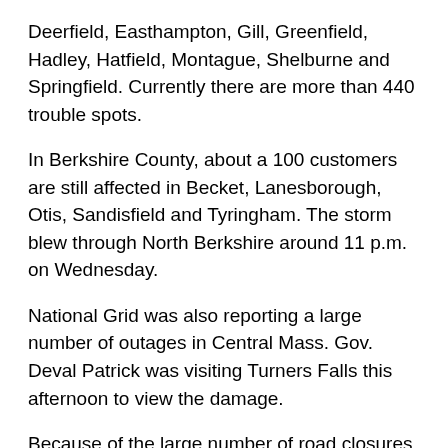Deerfield, Easthampton, Gill, Greenfield, Hadley, Hatfield, Montague, Shelburne and Springfield. Currently there are more than 440 trouble spots.
In Berkshire County, about a 100 customers are still affected in Becket, Lanesborough, Otis, Sandisfield and Tyringham. The storm blew through North Berkshire around 11 p.m. on Wednesday.
National Grid was also reporting a large number of outages in Central Mass. Gov. Deval Patrick was visiting Turners Falls this afternoon to view the damage.
Because of the large number of road closures, WMECo plans to use a helicopter patrol over Franklin and Hampshire counties to better assess the amount of damage to its distribution system. WMECo said it continues to evaluate the extent of damage; at this time restoration times are not available.
In terms of numbers of customers affected, WMECo said early